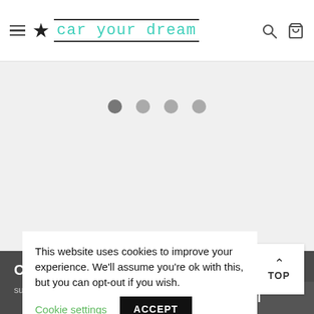car your dream — navigation header with hamburger menu, star logo, site name, search and cart icons
[Figure (screenshot): Carousel dot indicators: four dots, first one active (darker), three inactive (lighter gray)]
CONTACT
support@caryourdream.com
This website uses cookies to improve your experience. We'll assume you're ok with this, but you can opt-out if you wish. Cookie settings  ACCEPT
TO CART